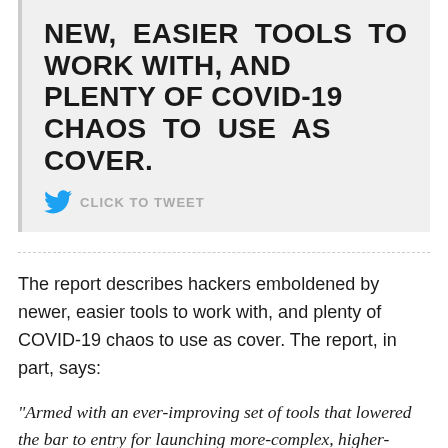NEW, EASIER TOOLS TO WORK WITH, AND PLENTY OF COVID-19 CHAOS TO USE AS COVER.
CLICK TO TWEET
The report describes hackers emboldened by newer, easier tools to work with, and plenty of COVID-19 chaos to use as cover. The report, in part, says:
“Armed with an ever-improving set of tools that lowered the bar to entry for launching more-complex, higher-throughput attacks, cybercriminals eagerly leveraged new weaknesses, setting the stage for a banner year for DDoS activity.”